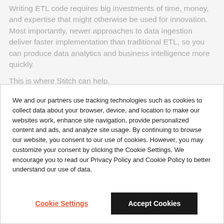Writing ETL code requires big investments of time, money, and expertise that might otherwise be used for innovation. Most importantly, newer approaches to data ingestion deliver faster implementation than traditional ETL, so you can produce data analytics and business intelligence more quickly.
This is where Stitch can help.
We and our partners use tracking technologies such as cookies to collect data about your browser, device, and location to make our websites work, enhance site navigation, provide personalized content and ads, and analyze site usage. By continuing to browse our website, you consent to our use of cookies. However, you may customize your consent by clicking the Cookie Settings. We encourage you to read our Privacy Policy and Cookie Policy to better understand our use of data.
Cookie Settings
Accept Cookies